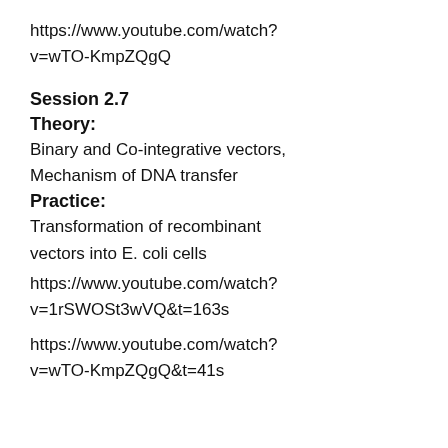https://www.youtube.com/watch?v=wTO-KmpZQgQ
Session 2.7
Theory:
Binary and Co-integrative vectors, Mechanism of DNA transfer
Practice:
Transformation of recombinant vectors into E. coli cells
https://www.youtube.com/watch?v=1rSWOSt3wVQ&t=163s
https://www.youtube.com/watch?v=wTO-KmpZQgQ&t=41s